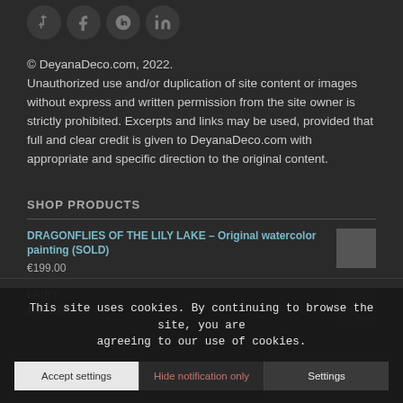[Figure (illustration): Four circular social media icon buttons for Tumblr, Facebook, Pinterest, and LinkedIn on a dark background]
© DeyanaDeco.com, 2022.
Unauthorized use and/or duplication of site content or images without express and written permission from the site owner is strictly prohibited. Excerpts and links may be used, provided that full and clear credit is given to DeyanaDeco.com with appropriate and specific direction to the original content.
SHOP PRODUCTS
DRAGONFLIES OF THE LILY LAKE – Original watercolor painting (SOLD)
€199.00
FAIRY ... painting (SOLD)
This site uses cookies. By continuing to browse the site, you are agreeing to our use of cookies.